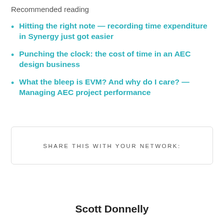Recommended reading
Hitting the right note — recording time expenditure in Synergy just got easier
Punching the clock: the cost of time in an AEC design business
What the bleep is EVM? And why do I care? — Managing AEC project performance
SHARE THIS WITH YOUR NETWORK:
Scott Donnelly